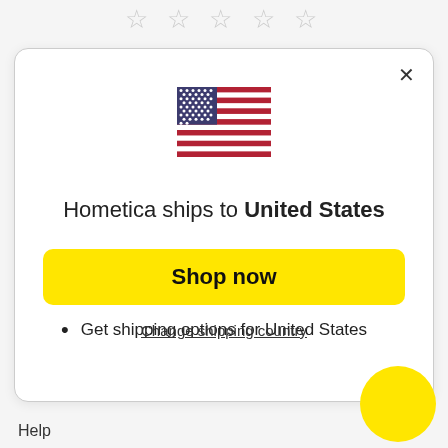[Figure (illustration): Five empty star rating icons displayed in a row]
[Figure (illustration): United States flag icon]
Hometica ships to United States
Shop in USD $
Get shipping options for United States
Shop now
Change shipping country
Help